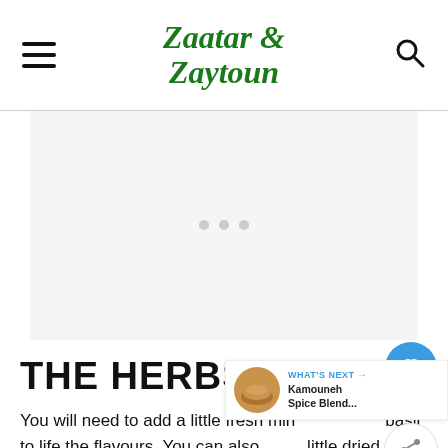Zaatar & Zaytoun
[Figure (other): Advertisement placeholder area with three grey dots]
THE HERBS
You will need to add a little fresh mint basil to life the flavours. You can also little dried mediterranean herbs but again not